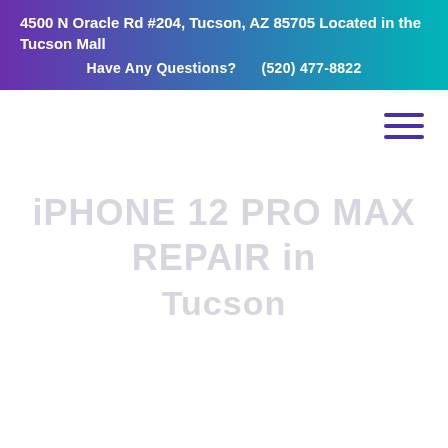4500 N Oracle Rd #204, Tucson, AZ 85705 Located in the Tucson Mall
Have Any Questions?  (520) 477-8822
[Figure (other): Hamburger menu navigation icon with three horizontal lines in purple/indigo color]
iPHONE 12 PRO MAX REPAIR in Tucson